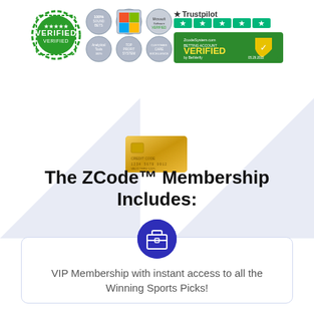[Figure (infographic): Top badges row: green Verified stamp, six silver award badges, Trustpilot 5-star rating, and BetVerify green verified badge]
[Figure (illustration): Gold credit card illustration]
The ZCode™ Membership Includes:
[Figure (illustration): Dark blue circle with white briefcase/portfolio icon]
VIP Membership with instant access to all the Winning Sports Picks!